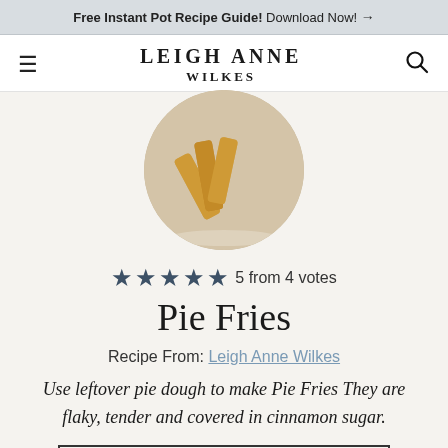Free Instant Pot Recipe Guide! Download Now! →
LEIGH ANNE WILKES
[Figure (photo): Circular photo of pie fries — baked pastry strips dusted with cinnamon sugar on a white plate]
5 from 4 votes
Pie Fries
Recipe From: Leigh Anne Wilkes
Use leftover pie dough to make Pie Fries They are flaky, tender and covered in cinnamon sugar.
12 Servings  tap # to scale